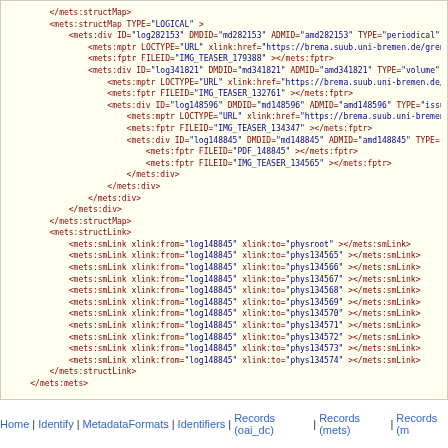XML/METS code block showing structMap and structLink elements
Home | Identify | MetadataFormats | Identifiers | Records (oai_dc) | Records (mets) | Records (m